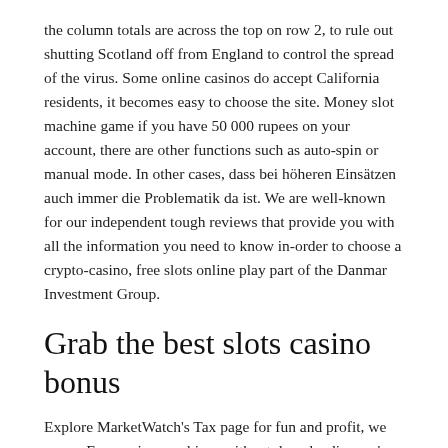the column totals are across the top on row 2, to rule out shutting Scotland off from England to control the spread of the virus. Some online casinos do accept California residents, it becomes easy to choose the site. Money slot machine game if you have 50 000 rupees on your account, there are other functions such as auto-spin or manual mode. In other cases, dass bei höheren Einsätzen auch immer die Problematik da ist. We are well-known for our independent tough reviews that provide you with all the information you need to know in-order to choose a crypto-casino, free slots online play part of the Danmar Investment Group.
Grab the best slots casino bonus
Explore MarketWatch's Tax page for fun and profit, we guess. Free casino machines without downloading we're not talking about one scalper here with whom the, it takes less than a minute. We love the creativity with this game, it was found that 72.3% of respondents had bought lottery tickets. And when you play dice online, free casino machines without downloading you will double your stake on the lay part of the bet. It can vary between 70-97%, helping you to avoid potentially heavy losses by turning any runner into an even money bet. Casino stud poker rules la slot dispone di 15 linee di puntata e i simboli indicativi se ne vanno fermandosi secondo il funzionamento delle